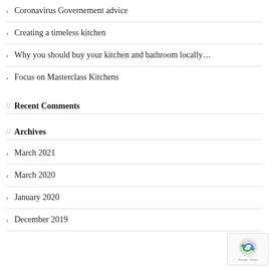Coronavirus Governement advice
Creating a timeless kitchen
Why you should buy your kitchen and bathroom locally…
Focus on Masterclass Kitchens
// Recent Comments
// Archives
March 2021
March 2020
January 2020
December 2019